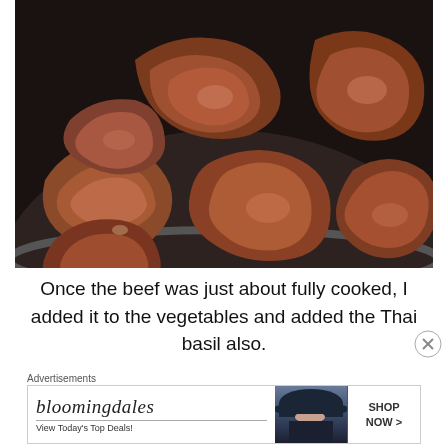[Figure (photo): Slices of beef cooking in a dark non-stick frying pan, pieces spread out showing browning and some pink, with cooking juices visible on the pan surface.]
Once the beef was just about fully cooked, I added it to the vegetables and added the Thai basil also.
Advertisements
[Figure (other): Bloomingdale's advertisement banner: 'bloomingdales View Today's Top Deals!' with an image of a woman in a large hat and a 'SHOP NOW >' button.]